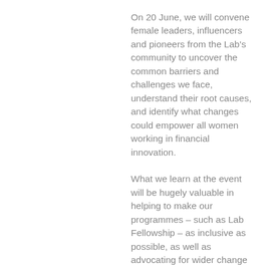On 20 June, we will convene female leaders, influencers and pioneers from the Lab's community to uncover the common barriers and challenges we face, understand their root causes, and identify what changes could empower all women working in financial innovation.
What we learn at the event will be hugely valuable in helping to make our programmes – such as Lab Fellowship – as inclusive as possible, as well as advocating for wider change in finance and fintech.
Join us